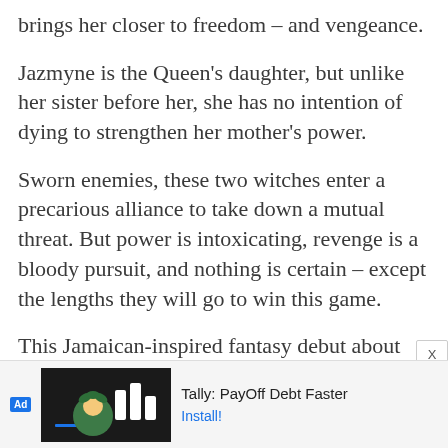brings her closer to freedom – and vengeance.
Jazmyne is the Queen's daughter, but unlike her sister before her, she has no intention of dying to strengthen her mother's power.
Sworn enemies, these two witches enter a precarious alliance to take down a mutual threat. But power is intoxicating, revenge is a bloody pursuit, and nothing is certain – except the lengths they will go to win this game.
This Jamaican-inspired fantasy debut about two enemy witches who must enter into a deadly alliance to take down a common enemy has the
[Figure (screenshot): Advertisement banner for Tally: PayOff Debt Faster app with Ad label, small illustration, and Install button]